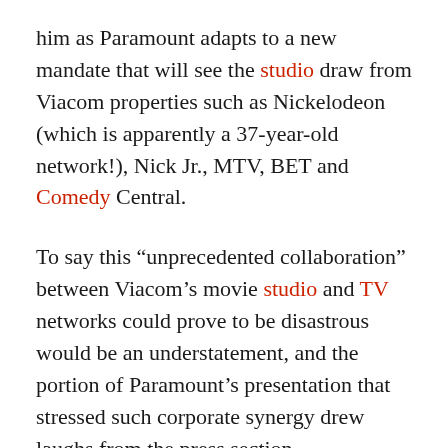him as Paramount adapts to a new mandate that will see the studio draw from Viacom properties such as Nickelodeon (which is apparently a 37-year-old network!), Nick Jr., MTV, BET and Comedy Central.
To say this “unprecedented collaboration” between Viacom’s movie studio and TV networks could prove to be disastrous would be an understatement, and the portion of Paramount’s presentation that stressed such corporate synergy drew laughs from the press section.
See, Paramount is adopting a strategy wherein its feature content can be adapted for television, and its television content can be adapted for the big screen. For example, we saw a forgettable trailer for the